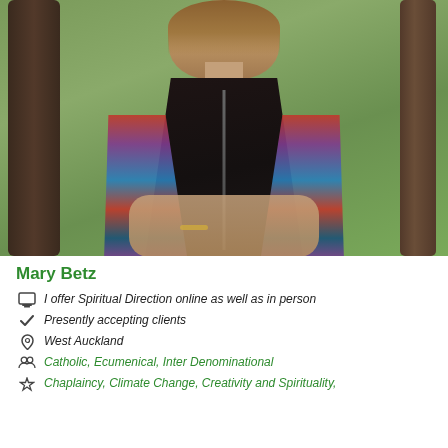[Figure (photo): Portrait photo of Mary Betz, a woman with light brown hair wearing a dark zip-up vest over a colorful patterned top, leaning against a tree with green foliage in the background]
Mary Betz
I offer Spiritual Direction online as well as in person
Presently accepting clients
West Auckland
Catholic, Ecumenical, Inter Denominational
Chaplaincy, Climate Change, Creativity and Spirituality,